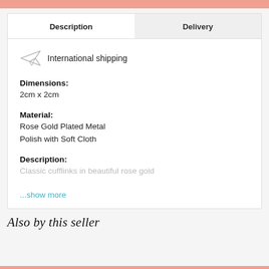Description | Delivery
International shipping
Dimensions:
2cm x 2cm
Material:
Rose Gold Plated Metal
Polish with Soft Cloth
Description:
Classic cufflinks in beautiful rose gold
...show more
Also by this seller